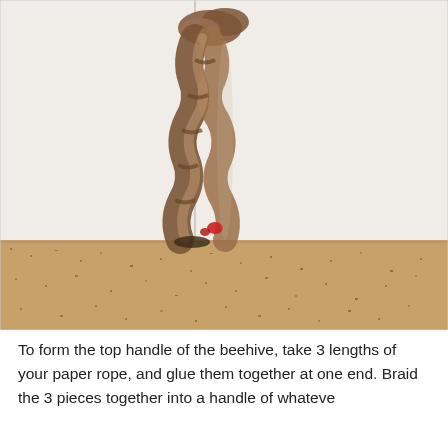[Figure (photo): A braided or twisted rope made from brown fabric/paper strips, hanging against a white tiled wall corner above an orange/tan speckled floor. A small red element is visible near the bottom of the braid.]
To form the top handle of the beehive, take 3 lengths of your paper rope, and glue them together at one end. Braid the 3 pieces together into a handle of whateve